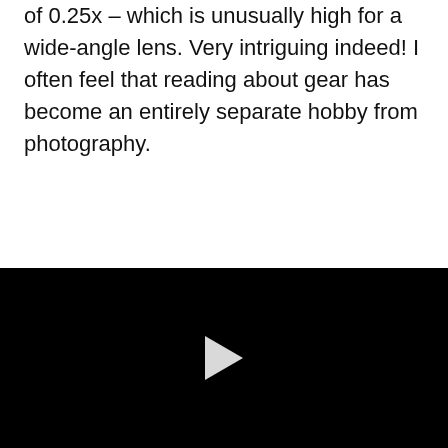of 0.25x – which is unusually high for a wide-angle lens. Very intriguing indeed! I often feel that reading about gear has become an entirely separate hobby from photography.
[Figure (photo): Close-up black and white photograph of a camera body showing dials and controls including QUAL button and mode dial]
[Figure (screenshot): Black video player area with a white play button triangle in the center]